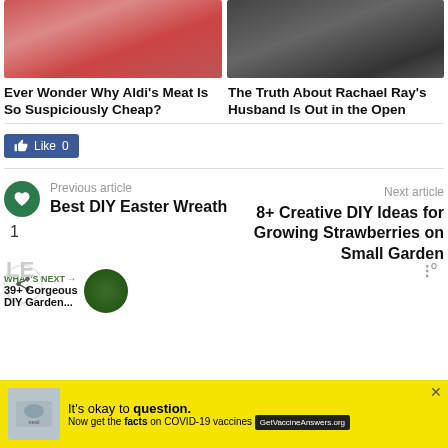[Figure (photo): Top-left: raw red meat on cutting board]
[Figure (photo): Top-right: man with beard, dark background]
Ever Wonder Why Aldi's Meat Is So Suspiciously Cheap?
The Truth About Rachael Ray's Husband Is Out in the Open
[Figure (screenshot): Facebook Like button showing count 0]
[Figure (infographic): Navigation: Previous article - Best DIY Easter Wreath; heart icon button; share button; count 1]
Next article
8+ Creative DIY Ideas for Growing Strawberries on Small Garden
WHAT'S NEXT → 39+ Gorgeous DIY Garden...
[Figure (photo): Round thumbnail image of garden/trees]
[Figure (screenshot): Yellow advertisement banner: It's okay to question. Now get the facts on COVID-19 vaccines. GetVaccineAnswers.org]
LE
[Figure (logo): Right side icon - three lines with dot (notification icon)]